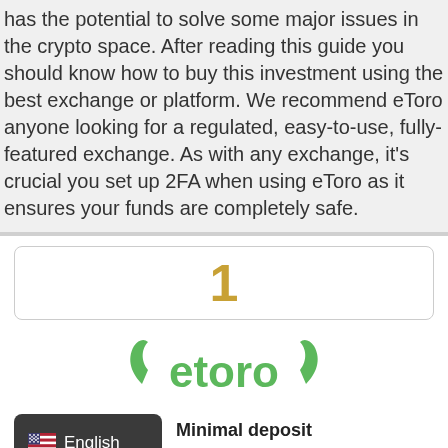has the potential to solve some major issues in the crypto space. After reading this guide you should know how to buy this investment using the best exchange or platform. We recommend eToro anyone looking for a regulated, easy-to-use, fully-featured exchange. As with any exchange, it's crucial you set up 2FA when using eToro as it ensures your funds are completely safe.
[Figure (other): Ranking box showing number 1 in gold/dark yellow bold text, inside a rounded rectangle border]
[Figure (logo): eToro logo in green with bull horns on either side]
[Figure (other): Dark badge showing US flag emoji and the text 'English']
Minimal deposit